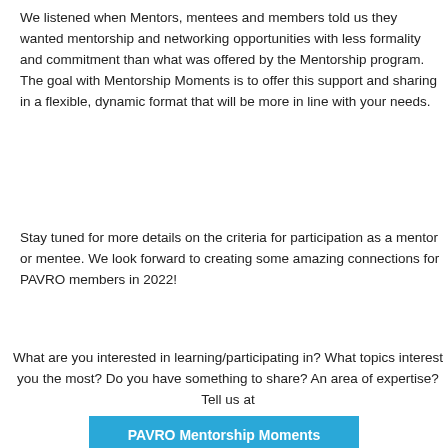We listened when Mentors, mentees and members told us they wanted mentorship and networking opportunities with less formality and commitment than what was offered by the Mentorship program. The goal with Mentorship Moments is to offer this support and sharing in a flexible, dynamic format that will be more in line with your needs.
Stay tuned for more details on the criteria for participation as a mentor or mentee. We look forward to creating some amazing connections for PAVRO members in 2022!
What are you interested in learning/participating in? What topics interest you the most? Do you have something to share? An area of expertise? Tell us at
PAVRO Mentorship Moments Survey